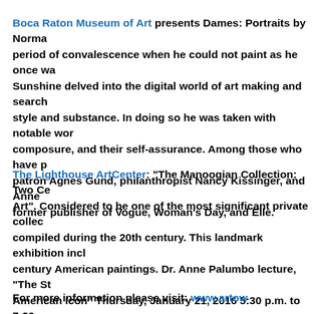Boca Raton Museum of Art presents Dames: Portraits by Norma... period of convalescence when he could not paint as he once wa... Sunshine delved into the digital world of art making and search... style and substance. In doing so he was taken with notable wor... composure, and their self-assurance. Among those who have p... patron Agnes Gund, philanthropist Nancy Kissinger, and Anne ... former publisher of Vogue, Woman's Day, and Elle.
The Lighthouse ArtCenter: "The Manoogian Collection: Two Ce... Art". Considered to be one of the most significant private colled... compiled during the 20th century. This landmark exhibition incl... century American paintings. Dr. Anne Palumbo lecture, "The Sta... American Icon" Thursday, January 21, 2016 5:30 p.m. to 7:30 p....
For more information please visit: www.artow...